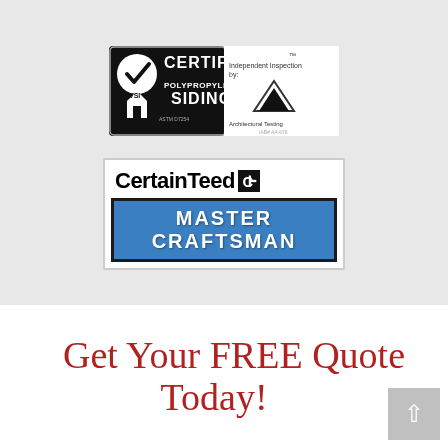[Figure (logo): VSI Certified Polypropylene Siding badge with checkmark, house icon, and Architectural Testing logo]
[Figure (logo): CertainTeed Master Craftsman logo with blue banner reading MASTER CRAFTSMAN]
Get Your FREE Quote Today!